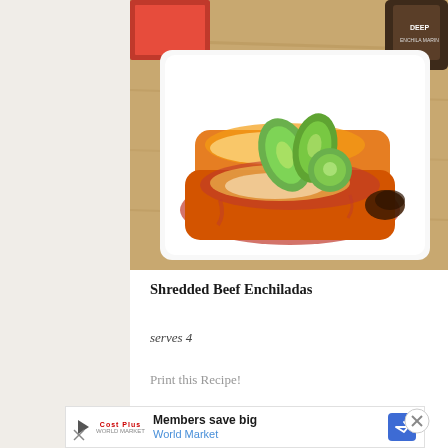[Figure (photo): Photo of shredded beef enchiladas on a white square plate — two rolled tortillas covered in red/orange enchilada sauce and melted cheese, topped with avocado slices, on a wooden surface with a red box and sauce bottle in background.]
Shredded Beef Enchiladas
serves 4
Print this Recipe!
[Figure (infographic): Advertisement banner: Members save big — World Market, with play/close icons and directional arrow logo.]